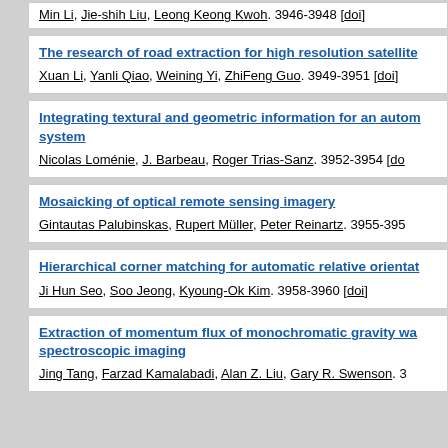Xuan Li, Yanli Qiao, Weining Yi, ZhiFeng Guo. 3949-3951 [doi]
The research of road extraction for high resolution satellite — Xuan Li, Yanli Qiao, Weining Yi, ZhiFeng Guo. 3949-3951 [doi]
Integrating textural and geometric information for an automatic system — Nicolas Loménie, J. Barbeau, Roger Trias-Sanz. 3952-3954 [doi]
Mosaicking of optical remote sensing imagery — Gintautas Palubinskas, Rupert Müller, Peter Reinartz. 3955-395
Hierarchical corner matching for automatic relative orientation — Ji Hun Seo, Soo Jeong, Kyoung-Ok Kim. 3958-3960 [doi]
Extraction of momentum flux of monochromatic gravity waves using spectroscopic imaging — Jing Tang, Farzad Kamalabadi, Alan Z. Liu, Gary R. Swenson. 3